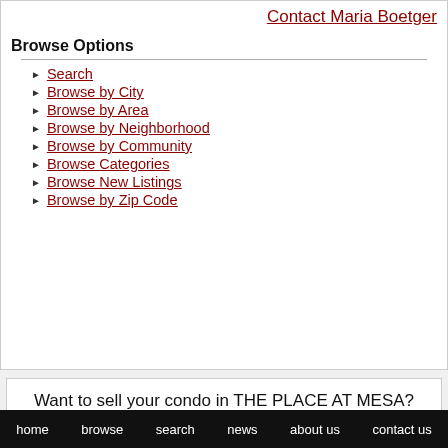Contact Maria Boetger
Browse Options
Search
Browse by City
Browse by Area
Browse by Neighborhood
Browse by Community
Browse Categories
Browse New Listings
Browse by Zip Code
Want to sell your condo in THE PLACE AT MESA? Please Contact Us for your complimentary condo value estimate.
home  browse  search  news  about us  contact us